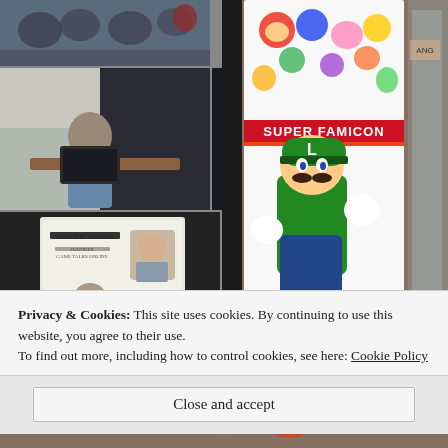[Figure (photo): Top-left photo: group of people sitting in chairs at a convention panel]
[Figure (photo): Middle-left photo: man sitting at a table with a laptop, convention setting with dark curtains]
[Figure (photo): Middle-right photo: television screen mounted on stand showing a game]
[Figure (photo): Bottom-left large photo: presentation screen showing 'Patrick Thorpe' with two people seated below]
[Figure (photo): Right-side tall photo: Super Famicon banner/sign featuring Luigi (Nintendo character) with colorful game character icons at top]
[Figure (photo): Bottom strip photo: convention attendees in costumes]
Privacy & Cookies: This site uses cookies. By continuing to use this website, you agree to their use.
To find out more, including how to control cookies, see here: Cookie Policy
Close and accept